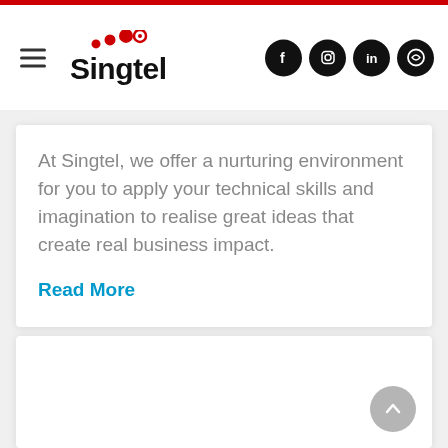[Figure (logo): Singtel logo with red dots above text and hamburger menu icon on the left, social media icons (Facebook, Instagram, LinkedIn, Singtel app) on the right]
At Singtel, we offer a nurturing environment for you to apply your technical skills and imagination to realise great ideas that create real business impact.
Read More
[Figure (other): White content card area below, with a scroll-to-top arrow button in the bottom right corner]